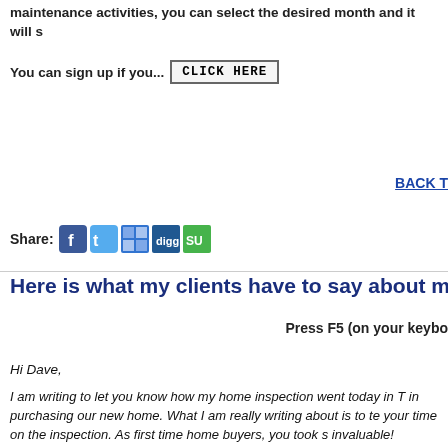maintenance activities, you can select the desired month and it will s
You can sign up if you... CLICK HERE
BACK T
Share:
Here is what my clients have to say about my
Press F5 (on your keybo
Hi Dave,
I am writing to let you know how my home inspection went today in T in purchasing our new home. What I am really writing about is to te your time on the inspection. As first time home buyers, you took s invaluable!